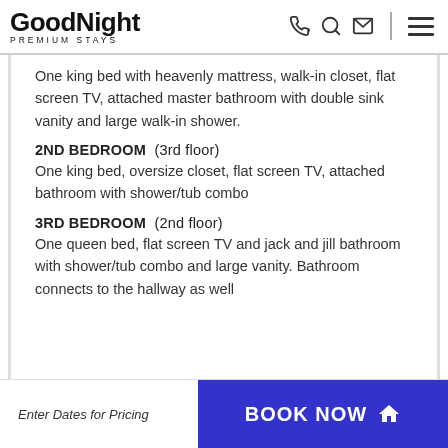GoodNight PREMIUM STAYS
One king bed with heavenly mattress, walk-in closet, flat screen TV, attached master bathroom with double sink vanity and large walk-in shower.
2ND BEDROOM  (3rd floor)
One king bed, oversize closet, flat screen TV, attached bathroom with shower/tub combo
3RD BEDROOM  (2nd floor)
One queen bed, flat screen TV and jack and jill bathroom with shower/tub combo and large vanity. Bathroom connects to the hallway as well
Enter Dates for Pricing  |  BOOK NOW